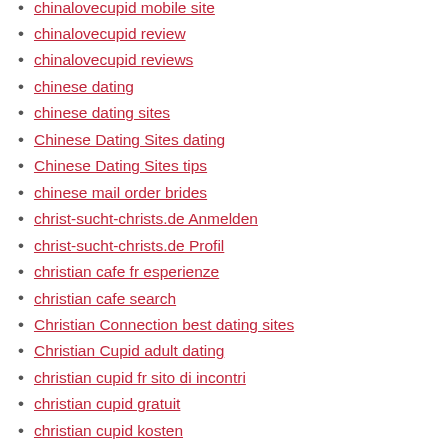chinalovecupid mobile site
chinalovecupid review
chinalovecupid reviews
chinese dating
chinese dating sites
Chinese Dating Sites dating
Chinese Dating Sites tips
chinese mail order brides
christ-sucht-christs.de Anmelden
christ-sucht-christs.de Profil
christian cafe fr esperienze
christian cafe search
Christian Connection best dating sites
Christian Cupid adult dating
christian cupid fr sito di incontri
christian cupid gratuit
christian cupid kosten
Christian Cupid mobile site
christian cupid review
christian cupid search
christian cupid visitors
Christian Dating apps
christian dating review
Christian dating sites top 10
christian mingle ?berpr?fung